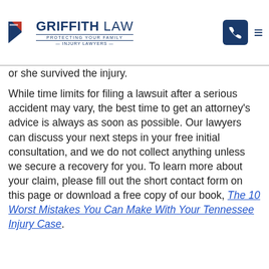Griffith Law — Protecting Your Family — Injury Lawyers
death. In essence, this is a personal injury claim for lost income, and pain and suffering that a victim might have brought if he or she survived the injury.
While time limits for filing a lawsuit after a serious accident may vary, the best time to get an attorney's advice is always as soon as possible. Our lawyers can discuss your next steps in your free initial consultation, and we do not collect anything unless we secure a recovery for you. To learn more about your claim, please fill out the short contact form on this page or download a free copy of our book, The 10 Worst Mistakes You Can Make With Your Tennessee Injury Case.